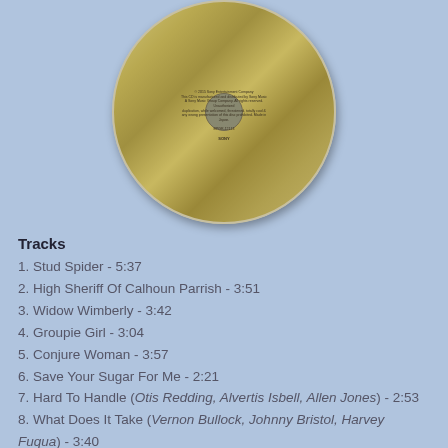[Figure (photo): A photograph of a CD disc viewed from above, showing the shiny gold/silver surface with label text, centered on a light blue background.]
Tracks
1. Stud Spider - 5:37
2. High Sheriff Of Calhoun Parrish - 3:51
3. Widow Wimberly - 3:42
4. Groupie Girl - 3:04
5. Conjure Woman - 3:57
6. Save Your Sugar For Me - 2:21
7. Hard To Handle (Otis Redding, Alvertis Isbell, Allen Jones) - 2:53
8. What Does It Take (Vernon Bullock, Johnny Bristol, Harvey Fuqua) - 3:40
9. My Friend (Donnie Fritts, Spooner Oldham) - 3:12
10.Stockholm Blues - 3:28
11.Boom Boom (John Lee Hooker) - 7:52
12.I Protest (Wayne Carson) - 3:10
13.Man Can Only Stand Just So Much Pain (Mickey